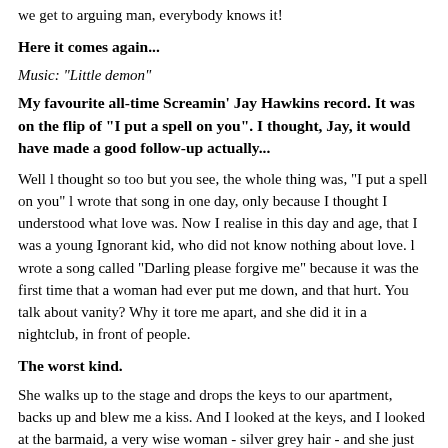we get to arguing man, everybody knows it!
Here it comes again...
Music: "Little demon"
My favourite all-time Screamin' Jay Hawkins record. It was on the flip of "I put a spell on you". I thought, Jay, it would have made a good follow-up actually...
Well l thought so too but you see, the whole thing was, "I put a spell on you" l wrote that song in one day, only because I thought I understood what love was. Now I realise in this day and age, that I was a young Ignorant kid, who did not know nothing about love. l wrote a song called "Darling please forgive me" because it was the first time that a woman had ever put me down, and that hurt. You talk about vanity? Why it tore me apart, and she did it in a nightclub, in front of people.
The worst kind.
She walks up to the stage and drops the keys to our apartment, backs up and blew me a kiss. And I looked at the keys, and I looked at the barmaid, a very wise woman - silver grey hair - and she just shook her head. And then she said (whispers), "When you've finished, come